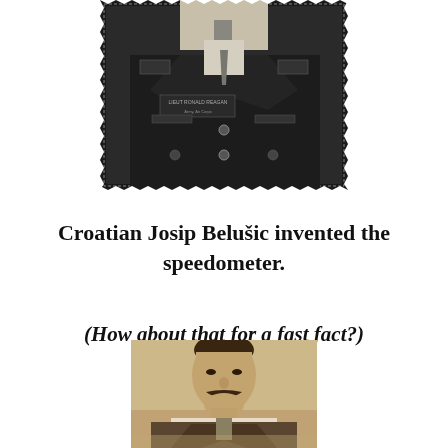[Figure (photo): Black and white photograph of a man in military uniform with buttons and insignia, with text reading 'LIEUT RONALD REAGAN' on the uniform.]
Croatian Josip Belušic invented the speedometer.
(How about that for a fast fact?)
[Figure (photo): Sepia-toned vintage portrait photograph of a man with a mustache wearing a suit.]